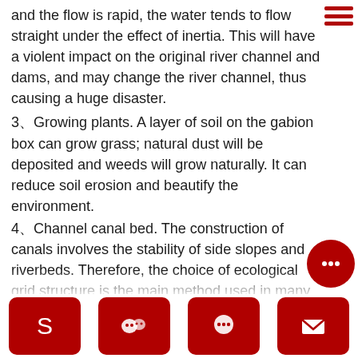and the flow is rapid, the water tends to flow straight under the effect of inertia. This will have a violent impact on the original river channel and dams, and may change the river channel, thus causing a huge disaster.
3、Growing plants. A layer of soil on the gabion box can grow grass; natural dust will be deposited and weeds will grow naturally. It can reduce soil erosion and beautify the environment.
4、Channel canal bed. The construction of canals involves the stability of side slopes and riverbeds. Therefore, the choice of ecological grid structure is the main method used in many natural rivers transformation and artificial canal excavation in the past hundred years.
5、Bank protection and slope protection. Ecogrid structure is a very successful example in river bank protection and its slope foot protection, which gives full play to the advantages of ecogrid and achieves the ideal effect that cannot be
[Figure (other): Top-right hamburger menu icon with three horizontal red bars]
[Figure (other): Floating circular red chat bubble button with ellipsis icon]
[Figure (other): Floating circular red up-arrow button]
[Figure (other): Bottom toolbar with four red rounded-square icon buttons: Skype, WeChat, phone/chat, email]